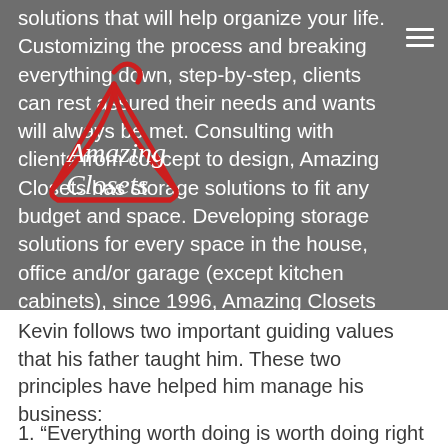[Figure (logo): Amazing Closets logo: red wire coat hanger outline with white script text 'Amazing Closets' overlaid on a gray background banner]
solutions that will help organize your life. Customizing the process and breaking everything down, step-by-step, clients can rest assured their needs and wants will always be met. Consulting with clients from concept to design, Amazing Closets has storage solutions to fit any budget and space. Developing storage solutions for every space in the house, office and/or garage (except kitchen cabinets), since 1996, Amazing Closets can master any unique project.
Kevin follows two important guiding values that his father taught him. These two principles have helped him manage his business:
1. “Everything worth doing is worth doing right the